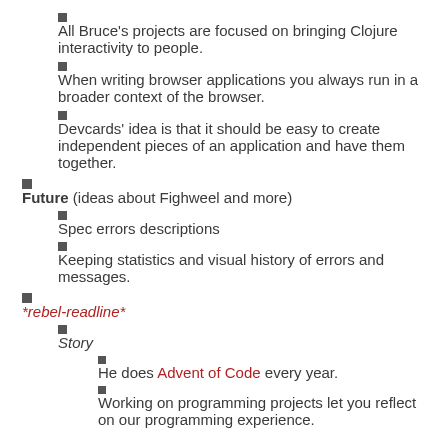All Bruce's projects are focused on bringing Clojure interactivity to people.
When writing browser applications you always run in a broader context of the browser.
Devcards' idea is that it should be easy to create independent pieces of an application and have them together.
Future (ideas about Fighweel and more)
Spec errors descriptions
Keeping statistics and visual history of errors and messages.
*rebel-readline*
Story
He does Advent of Code every year.
Working on programming projects let you reflect on our programming experience.